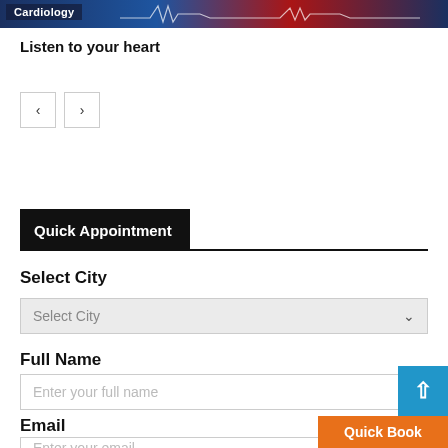[Figure (photo): Cardiology banner image with heart illustration and ECG line on a dark blue/red background]
Listen to your heart
[Figure (other): Navigation previous/next chevron buttons]
Quick Appointment
Select City
Select City (dropdown)
Full Name
Enter your full name
Email
Enter your email